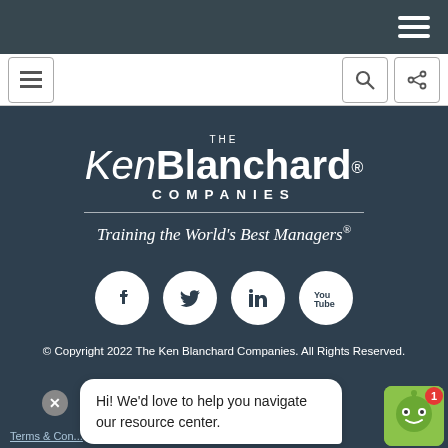[Figure (screenshot): Top navigation bar with hamburger menu icon on dark blue-grey background]
[Figure (screenshot): White toolbar with hamburger, search, and share icons]
[Figure (logo): The Ken Blanchard Companies logo with tagline 'Training the World's Best Managers']
Training the World's Best Managers®
[Figure (illustration): Social media icons: Facebook, Twitter, LinkedIn, YouTube on white circles]
© Copyright 2022 The Ken Blanchard Companies. All Rights Reserved.
Hi! We'd love to help you navigate our resource center.
Terms & Conditions